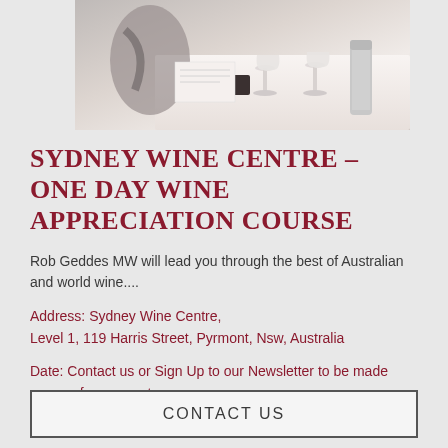[Figure (photo): A woman at a wine tasting table with glasses and bottles, black and white/muted tone photo shot from above/side angle]
SYDNEY WINE CENTRE – ONE DAY WINE APPRECIATION COURSE
Rob Geddes MW will lead you through the best of Australian and world wine....
Address: Sydney Wine Centre, Level 1, 119 Harris Street, Pyrmont, Nsw, Australia
Date: Contact us or Sign Up to our Newsletter to be made aware of new events
CONTACT US